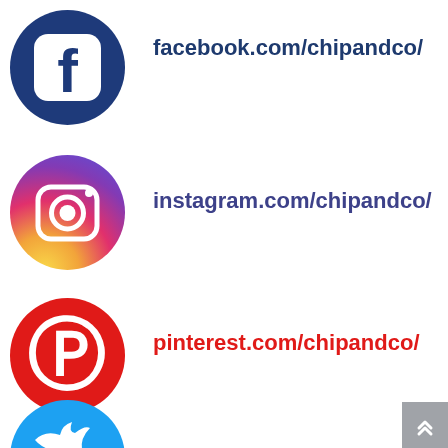[Figure (logo): Facebook circular logo - dark blue circle with white Facebook 'f' icon and rounded square border]
facebook.com/chipandco/
[Figure (logo): Instagram circular logo - gradient circle (purple to orange) with white camera icon]
instagram.com/chipandco/
[Figure (logo): Pinterest circular logo - red circle with white Pinterest 'P' icon]
pinterest.com/chipandco/
[Figure (logo): Twitter circular logo - light blue circle with white bird icon (partially visible at bottom)]